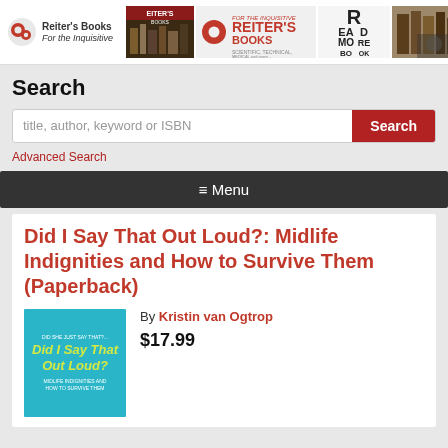Reiter's Books — For the Inquisitive
Search
title, author, keyword or ISBN
Advanced Search
≡ Menu
Did I Say That Out Loud?: Midlife Indignities and How to Survive Them (Paperback)
By Kristin van Ogtrop
$17.99